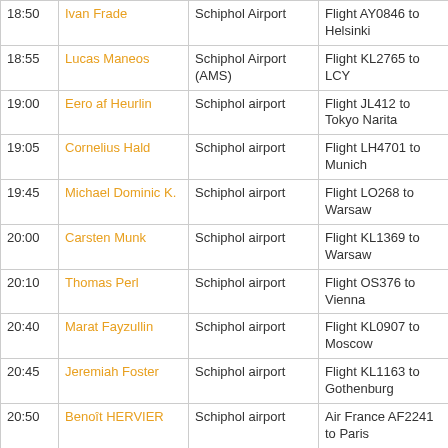| Time | Name | Location | Flight |
| --- | --- | --- | --- |
| 18:50 | Ivan Frade | Schiphol Airport | Flight AY0846 to Helsinki |
| 18:55 | Lucas Maneos | Schiphol Airport (AMS) | Flight KL2765 to LCY |
| 19:00 | Eero af Heurlin | Schiphol airport | Flight JL412 to Tokyo Narita |
| 19:05 | Cornelius Hald | Schiphol airport | Flight LH4701 to Munich |
| 19:45 | Michael Dominic K. | Schiphol airport | Flight LO268 to Warsaw |
| 20:00 | Carsten Munk | Schiphol airport | Flight KL1369 to Warsaw |
| 20:10 | Thomas Perl | Schiphol airport | Flight OS376 to Vienna |
| 20:40 | Marat Fayzullin | Schiphol airport | Flight KL0907 to Moscow |
| 20:45 | Jeremiah Foster | Schiphol airport | Flight KL1163 to Gothenburg |
| 20:50 | Benoît HERVIER | Schiphol airport | Air France AF2241 to Paris |
| 21:05 | Andrew Flegg | Schiphol airport | Flight KL1435 to Birmingham, UK |
| 21:15 | Andrea Grandi | Schiphol airport | Flight VY7217 to Valencia, Spain |
| 21:50 | Sebastian Lauwers | Schiphol Airport (AMS) | Flight 8882 to London Gatwick |